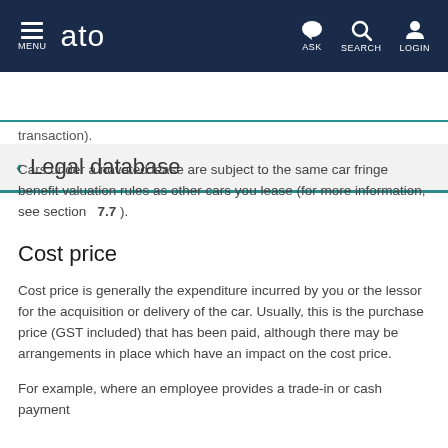MENU | ato | ASK | SEARCH | LOGIN
Legal database
transaction).
Cars under a novated lease are subject to the same car fringe benefit valuation rules as other cars you lease (for more information, see section 7.7 ).
Cost price
Cost price is generally the expenditure incurred by you or the lessor for the acquisition or delivery of the car. Usually, this is the purchase price (GST included) that has been paid, although there may be arrangements in place which have an impact on the cost price.
For example, where an employee provides a trade-in or cash payment